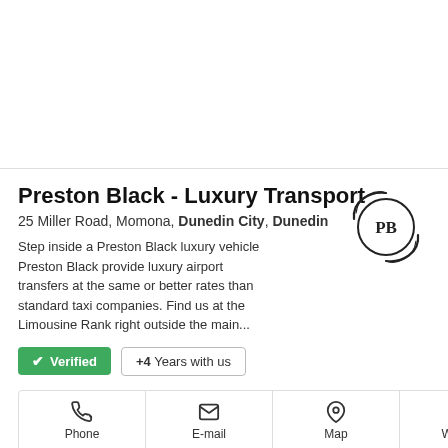Preston Black - Luxury Transport
25 Miller Road, Momona, Dunedin City, Dunedin
Step inside a Preston Black luxury vehicle Preston Black provide luxury airport transfers at the same or better rates than standard taxi companies. Find us at the Limousine Rank right outside the main...
[Figure (logo): PB circular logo with swooshing lines around it]
✓ Verified
+4 Years with us
Phone
E-mail
Map
Website
1 Photos
Some P...nt NZ